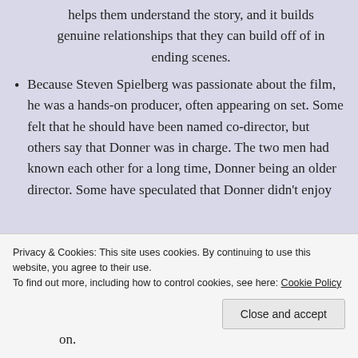helps them understand the story, and it builds genuine relationships that they can build off of in ending scenes.
Because Steven Spielberg was passionate about the film, he was a hands-on producer, often appearing on set. Some felt that he should have been named co-director, but others say that Donner was in charge. The two men had known each other for a long time, Donner being an older director. Some have speculated that Donner didn't enjoy
Privacy & Cookies: This site uses cookies. By continuing to use this website, you agree to their use.
To find out more, including how to control cookies, see here: Cookie Policy
Close and accept
on.